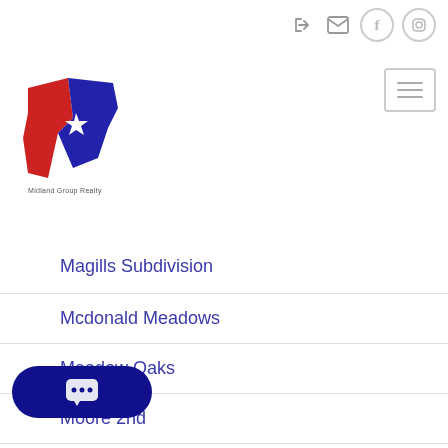[Figure (logo): Midland Group Realty logo — red and blue Texas shape with a star, text below]
Magills Subdivision
Mcdonald Meadows
Meadow Oaks
Moore 2nd
Morton Corbett A
Morton Corbett- A
Morton Corbett-A
Morton-Corbett